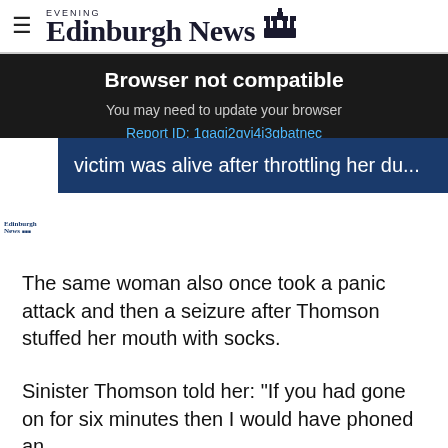Edinburgh Evening News
Browser not compatible
You may need to update your browser
Report ID: 1gaqi2qvi4i3gbatnec
victim was alive after throttling her du...
The same woman also once took a panic attack and then a seizure after Thomson stuffed her mouth with socks.
Sinister Thomson told her: "If you had gone on for six minutes then I would have phoned an